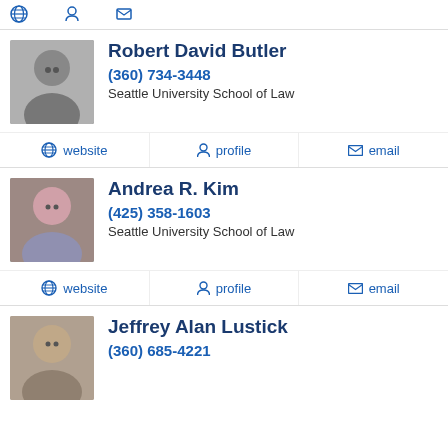website  profile  email
Robert David Butler
(360) 734-3448
Seattle University School of Law
website  profile  email
Andrea R. Kim
(425) 358-1603
Seattle University School of Law
website  profile  email
Jeffrey Alan Lustick
(360) 685-4221